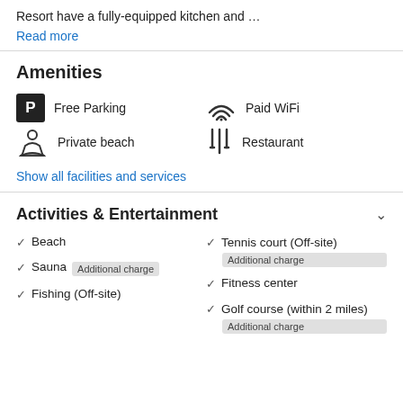Resort have a fully-equipped kitchen and …
Read more
Amenities
Free Parking
Paid WiFi
Private beach
Restaurant
Show all facilities and services
Activities & Entertainment
Beach
Tennis court (Off-site) Additional charge
Sauna Additional charge
Fitness center
Golf course (within 2 miles) Additional charge
Fishing (Off-site)